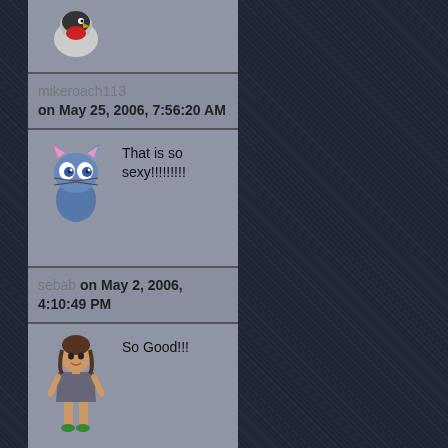[Figure (screenshot): Social media comment feed on a dark navy diagonal-textured background, showing user comments with avatars in a left panel]
mikeroach113 on May 25, 2006, 7:56:20 AM
That is so sexy!!!!!!!!!
sebab on May 2, 2006, 4:10:49 PM
So Good!!!
axelgnt on April 30, 2006, 4:34:05 PM